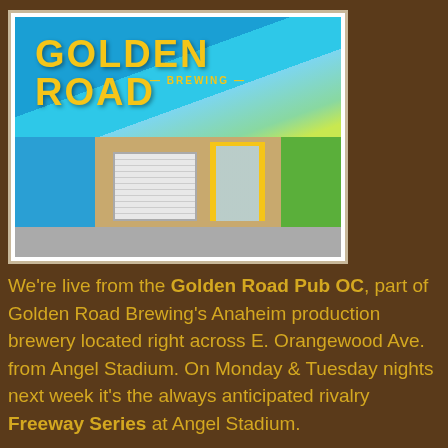[Figure (photo): Exterior photo of Golden Road Brewing pub in Anaheim, showing the building facade with a large colorful mural reading 'GOLDEN ROAD BREWING' in yellow letters on a blue/teal background, with a wood-panel building facade, blue accent panels, garage door, glass entrance with yellow framing, and a green mural panel on the right.]
We're live from the Golden Road Pub OC, part of Golden Road Brewing's Anaheim production brewery located right across E. Orangewood Ave. from Angel Stadium. On Monday & Tuesday nights next week it's the always anticipated rivalry Freeway Series at Angel Stadium.